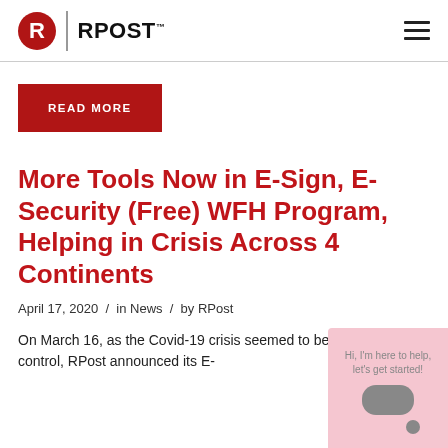RPost
READ MORE
More Tools Now in E-Sign, E-Security (Free) WFH Program, Helping in Crisis Across 4 Continents
April 17, 2020  /  in News  /  by RPost
On March 16, as the Covid-19 crisis seemed to be spiraling out of control, RPost announced its E-
[Figure (other): Chat widget overlay with text 'Hi, I'm here to help, let's get started!' and a speech bubble icon on a pink/rose background]